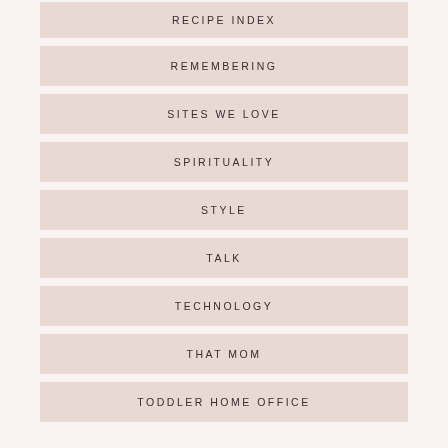RECIPE INDEX
REMEMBERING
SITES WE LOVE
SPIRITUALITY
STYLE
TALK
TECHNOLOGY
THAT MOM
TODDLER HOME OFFICE